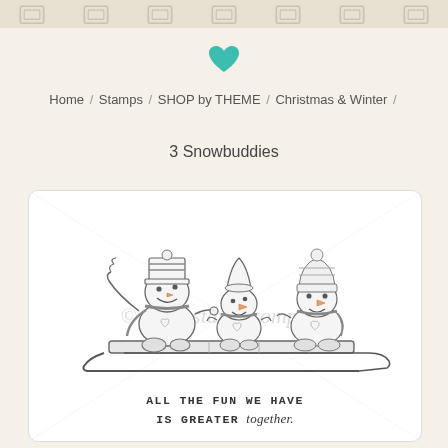decorative stamp icons strip
[Figure (illustration): Teal heart icon]
Home / Stamps / SHOP by THEME / Christmas & Winter /
3 Snowbuddies
[Figure (illustration): Rubber stamp illustration of three cartoon snowmen riding on a sled together, with text 'ALL THE FUN WE HAVE IS GREATER together.' The image has a Unity Stamp Company watermark and diagonal watermark lines.]